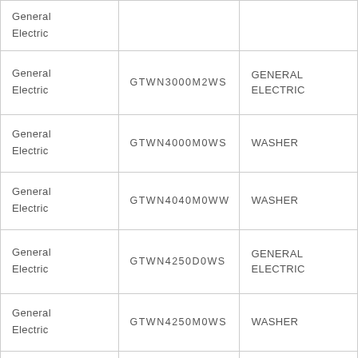| General Electric |  |  |
| General Electric | GTWN3000M2WS | GENERAL ELECTRIC |
| General Electric | GTWN4000M0WS | WASHER |
| General Electric | GTWN4040M0WW | WASHER |
| General Electric | GTWN4250D0WS | GENERAL ELECTRIC |
| General Electric | GTWN4250M0WS | WASHER |
|  |  |  |